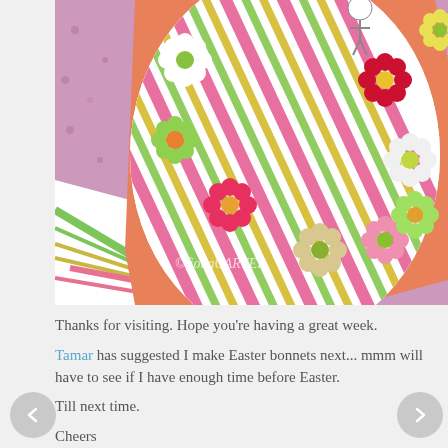[Figure (photo): Close-up photo of colorful paper craft Easter eggs decorated with flower embellishments in pink, red, green, white, and yellow on striped and patterned paper backgrounds. Watermark reads ©fionaCARTER.]
Thanks for visiting. Hope you're having a great week.
Tamar has suggested I make Easter bonnets next... mmm will have to see if I have enough time before Easter.
Till next time.
Cheers